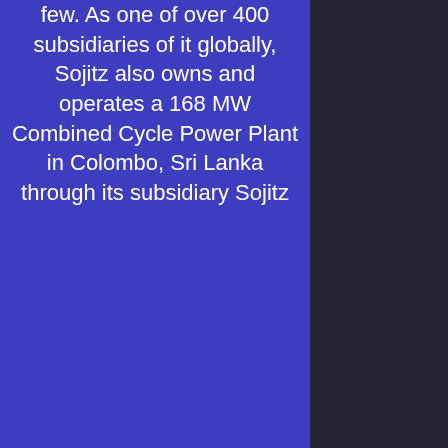few. As one of over 400 subsidiaries of it globally, Sojitz also owns and operates a 168 MW Combined Cycle Power Plant in Colombo, Sri Lanka through its subsidiary Sojitz